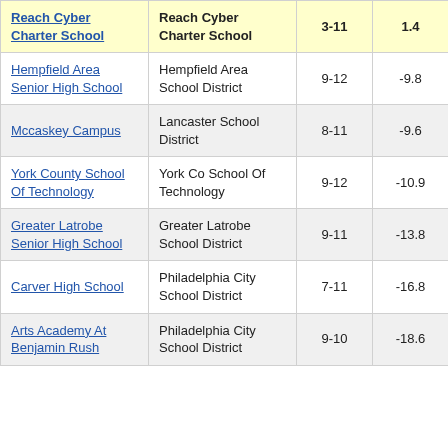| School | District | Grades | Score |
| --- | --- | --- | --- |
| Reach Cyber Charter School | Reach Cyber Charter School | 3-11 | 1.4 |
| Hempfield Area Senior High School | Hempfield Area School District | 9-12 | -9.8 |
| Mccaskey Campus | Lancaster School District | 8-11 | -9.6 |
| York County School Of Technology | York Co School Of Technology | 9-12 | -10.9 |
| Greater Latrobe Senior High School | Greater Latrobe School District | 9-11 | -13.8 |
| Carver High School | Philadelphia City School District | 7-11 | -16.8 |
| Arts Academy At Benjamin Rush | Philadelphia City School District | 9-10 | -18.6 |